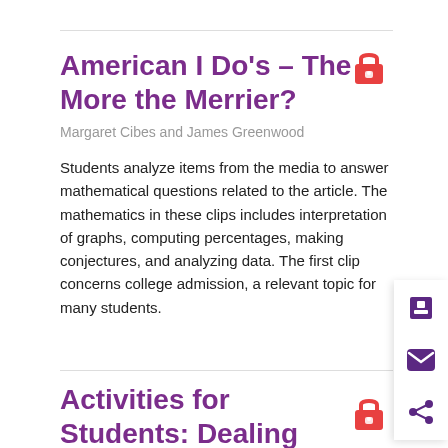American I Do's – The More the Merrier?
Margaret Cibes and James Greenwood
Students analyze items from the media to answer mathematical questions related to the article. The mathematics in these clips includes interpretation of graphs, computing percentages, making conjectures, and analyzing data. The first clip concerns college admission, a relevant topic for many students.
Activities for Students: Dealing Cards with